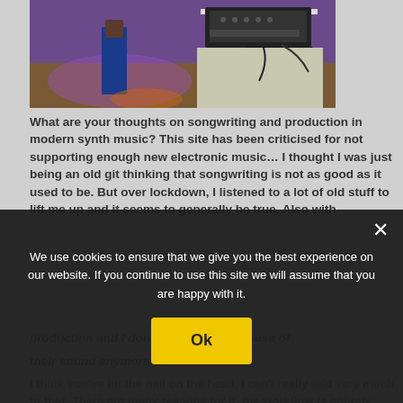[Figure (photo): Photo of a performer on stage with music equipment/synthesizers on a table, purple stage lighting, viewed from behind]
What are your thoughts on songwriting and production in modern synth music? This site has been criticised for not supporting enough new electronic music… I thought I was just being an old git thinking that songwriting is not as good as it used to be. But over lockdown, I listened to a lot of old stuff to lift me up and it seems to generally be true. Also with production and I don't know if it's because of
their sound anymore...
I think you've hit the nail on the head, I can't really add very much to that. There are many reasons for it, the workflow is entirely different now, it's so quick to get
We use cookies to ensure that we give you the best experience on our website. If you continue to use this site we will assume that you are happy with it.
Ok